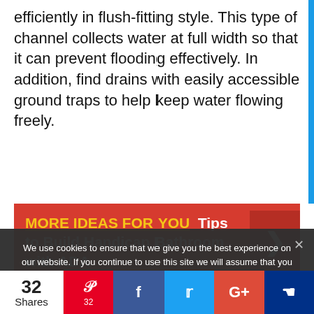efficiently in flush-fitting style. This type of channel collects water at full width so that it can prevent flooding effectively. In addition, find drains with easily accessible ground traps to help keep water flowing freely.
[Figure (infographic): Red promotional banner reading 'MORE IDEAS FOR YOU Tips to Build Handicap Bathroom with ADA' with a right-arrow chevron on a darker red background on the right side.]
Look for help from professionals to do this work because gradients need to be made along the floor. Of course, the purpose is to channel the shower
We use cookies to ensure that we give you the best experience on our website. If you continue to use this site we will assume that you are happy with it.
32 Shares | Pinterest 32 | Facebook | Twitter | Google+ | Other